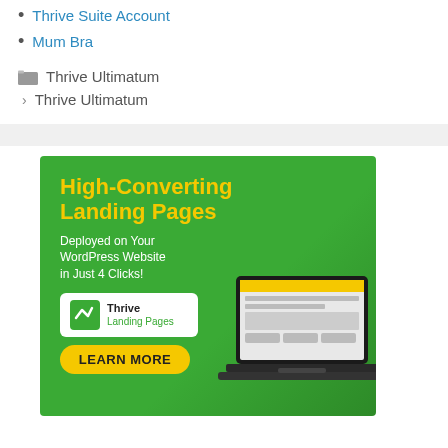Thrive Suite Account
Mum Bra
Thrive Ultimatum
Thrive Ultimatum
[Figure (illustration): Green advertisement banner for Thrive Landing Pages with headline 'High-Converting Landing Pages', subtext 'Deployed on Your WordPress Website in Just 4 Clicks!', a laptop mockup, badge with Thrive Landing Pages logo, and yellow LEARN MORE button.]